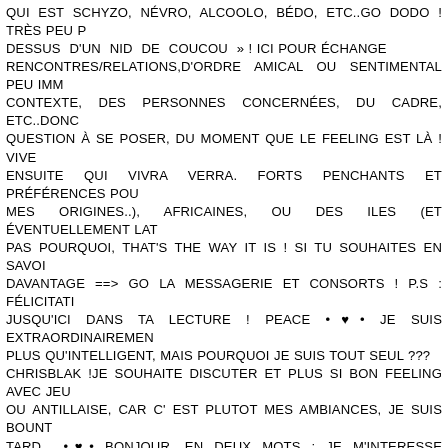QUI EST SCHYZO, NÉVRO, ALCOOLO, BÉDO, ETC..GO DODO ! TRÈS PEU P DESSUS D'UN NID DE COUCOU » ! ICI POUR ÉCHANGE RENCONTRES/RELATIONS,D'ORDRE AMICAL OU SENTIMENTAL PEU IMM CONTEXTE, DES PERSONNES CONCERNÉES, DU CADRE, ETC..DONC QUESTION À SE POSER, DU MOMENT QUE LE FEELING EST LÀ ! VIVE ENSUITE QUI VIVRA VERRA. FORTS PENCHANTS ET PRÉFÉRENCES POU MES ORIGINES..), AFRICAINES, OU DES ILES (ET ÉVENTUELLEMENT LAT PAS POURQUOI, THAT'S THE WAY IT IS ! SI TU SOUHAITES EN SAVOI DAVANTAGE ==> GO LA MESSAGERIE ET CONSORTS ! P.S : FÉLICITATIO JUSQU'ICI DANS TA LECTURE ! PEACE •♥• JE SUIS EXTRAORDINAIREMEN PLUS QU'INTELLIGENT, MAIS POURQUOI JE SUIS TOUT SEUL ??? CHRISBLAK !JE SOUHAITE DISCUTER ET PLUS SI BON FEELING AVEC JEU OU ANTILLAISE, CAR C' EST PLUTOT MES AMBIANCES, JE SUIS BOUNT TARD... •♥• BONJOUR, EN DEUX MOTS : JE M'INTERESSE PARTICULIÈREM (LE BOUDHISME NOTAMMENT) ET LA MUSIQUE CLASSIQUE (AVEC UNE PIANO CLASSIQUE), POUR CELLES QUI COMPRENDRONT MON SIGNE POISSON ASCENDANT CANCER. LA QUALITÉ HUMAINE QUE J'ADMIRE LE (OU TOUT SIMPLEMENT LA GENTILLESSE) ET JE N'APPRÉCIE PAS LA ÉGOISTE. JE SUIS À LA RECHERCHE DONC DE PERSONNES AYANT PLUS CENTRES D'INTÉRÊTS, AFIN D'ÉLARGIR LE CERCLE D'AMI(ES) ET PART VUES. EN ESPERANT QUE VOUS TROUVEREZ CE QUE VOUS RE EMBRASSE TOUTES :) JULIEN. •♥• UNE SEULE CHOSE À DIRE : IL VAUT